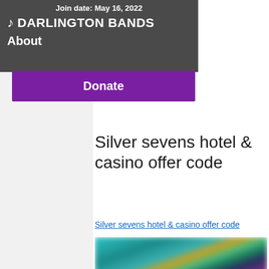Join date: May 16, 2022
DARLINGTON BANDS
About
Donate
Silver sevens hotel & casino offer code
Silver sevens hotel & casino offer code
[Figure (photo): Blurred screenshot of a casino or gaming website showing colorful characters and game thumbnails]